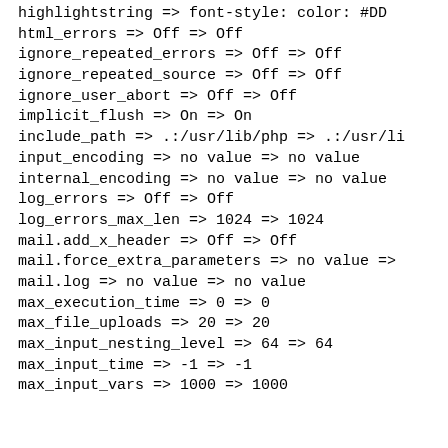highlightstring => font-style: color: #DD
html_errors => Off => Off
ignore_repeated_errors => Off => Off
ignore_repeated_source => Off => Off
ignore_user_abort => Off => Off
implicit_flush => On => On
include_path => .:/usr/lib/php => .:/usr/li
input_encoding => no value => no value
internal_encoding => no value => no value
log_errors => Off => Off
log_errors_max_len => 1024 => 1024
mail.add_x_header => Off => Off
mail.force_extra_parameters => no value =>
mail.log => no value => no value
max_execution_time => 0 => 0
max_file_uploads => 20 => 20
max_input_nesting_level => 64 => 64
max_input_time => -1 => -1
max_input_vars => 1000 => 1000